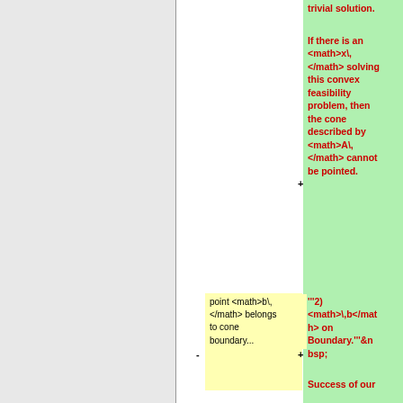trivial solution.
If there is an <math>x\, </math> solving this convex feasibility +problem, then the cone described by <math>A\, </math> cannot be pointed.
point <math>b\, </math> belongs to cone boundary...
'''2) <math>\,b</math> on Boundary.'''&nbsp;  Success of our